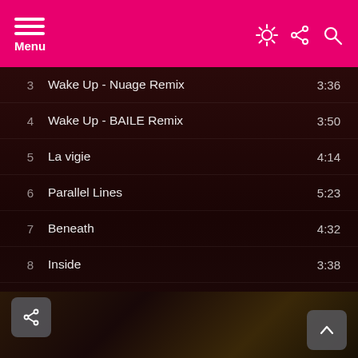Menu
3   Wake Up - Nuage Remix   3:36
4   Wake Up - BAILE Remix   3:50
5   La vigie   4:14
6   Parallel Lines   5:23
7   Beneath   4:32
8   Inside   3:38
9   Parallel Lines - BAILE Remix   7:01
10  All These Things   4:28
[Figure (photo): Dark photo panel at bottom of screen with share icon button and up-arrow scroll button]